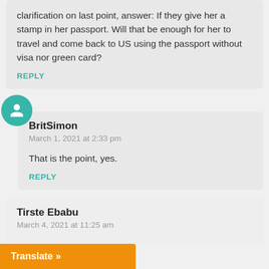clarification on last point, answer: If they give her a stamp in her passport. Will that be enough for her to travel and come back to US using the passport without visa nor green card?
REPLY
BritSimon
March 1, 2021 at 2:33 pm
That is the point, yes.
REPLY
Tirste Ebabu
March 4, 2021 at 11:25 am
Translate »